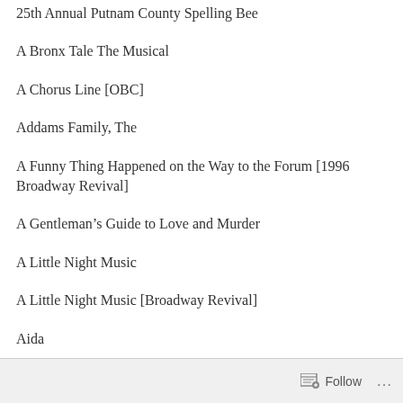25th Annual Putnam County Spelling Bee
A Bronx Tale The Musical
A Chorus Line [OBC]
Addams Family, The
A Funny Thing Happened on the Way to the Forum [1996 Broadway Revival]
A Gentleman's Guide to Love and Murder
A Little Night Music
A Little Night Music [Broadway Revival]
Aida
Follow